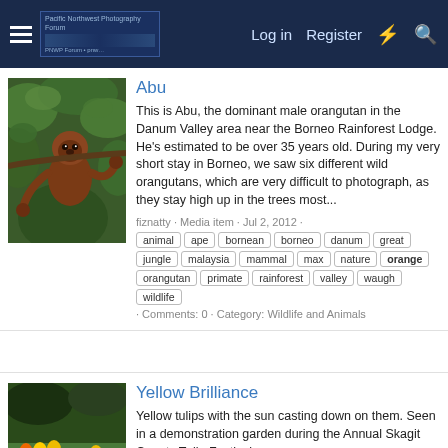Pacific Northwest Photography Forum — Log in | Register
Abu
This is Abu, the dominant male orangutan in the Danum Valley area near the Borneo Rainforest Lodge. He's estimated to be over 35 years old. During my very short stay in Borneo, we saw six different wild orangutans, which are very difficult to photograph, as they stay high up in the trees most...
fiznatty · Media item · Jul 2, 2012 · animal ape bornean borneo danum great jungle malaysia mammal max nature orange orangutan primate rainforest valley waugh wildlife · Comments: 0 · Category: Wildlife and Animals
Yellow Brilliance
Yellow tulips with the sun casting down on them. Seen in a demonstration garden during the Annual Skagit County Tulip Festival.
switcherMark · Media item · May 22, 2011 · images